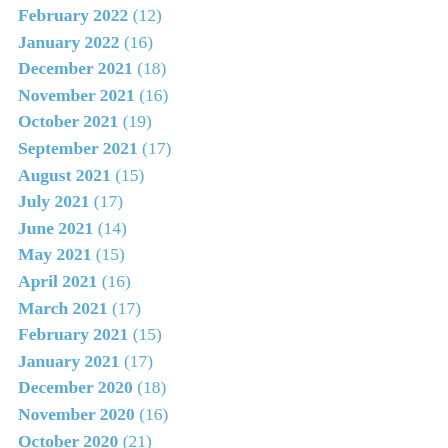February 2022 (12)
January 2022 (16)
December 2021 (18)
November 2021 (16)
October 2021 (19)
September 2021 (17)
August 2021 (15)
July 2021 (17)
June 2021 (14)
May 2021 (15)
April 2021 (16)
March 2021 (17)
February 2021 (15)
January 2021 (17)
December 2020 (18)
November 2020 (16)
October 2020 (21)
September 2020 (19)
August 2020 (17)
July 2020 (9)